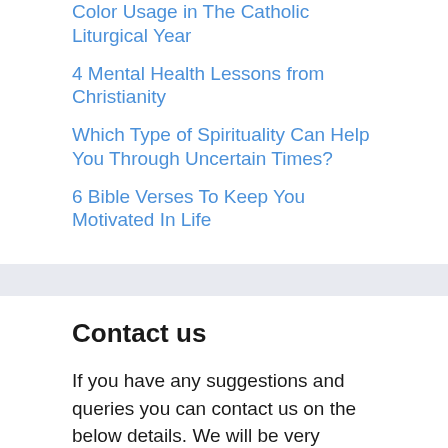Color Usage in The Catholic Liturgical Year
4 Mental Health Lessons from Christianity
Which Type of Spirituality Can Help You Through Uncertain Times?
6 Bible Verses To Keep You Motivated In Life
Contact us
If you have any suggestions and queries you can contact us on the below details. We will be very happy to hear from you.
E-mail: marketing[at]shantelllc.com